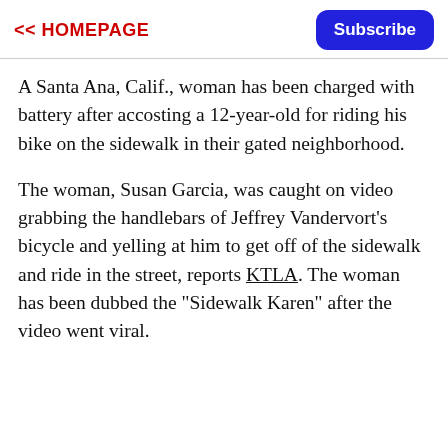<< HOMEPAGE    Subscribe
A Santa Ana, Calif., woman has been charged with battery after accosting a 12-year-old for riding his bike on the sidewalk in their gated neighborhood.
The woman, Susan Garcia, was caught on video grabbing the handlebars of Jeffrey Vandervort's bicycle and yelling at him to get off of the sidewalk and ride in the street, reports KTLA. The woman has been dubbed the "Sidewalk Karen" after the video went viral.